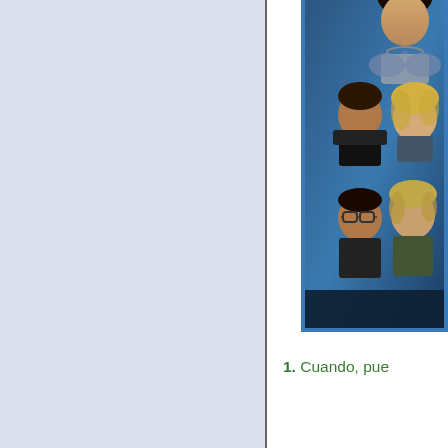[Figure (photo): Group photo of TV show cast members (multiple people) with a blue border frame, positioned in the upper right area of the page.]
1. Cuando, pue...